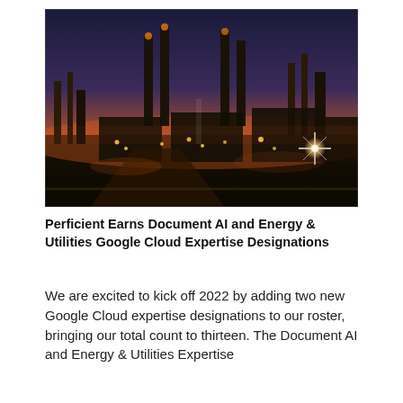[Figure (photo): Aerial night view of an industrial facility, likely an oil refinery or power plant, with tall smokestacks illuminated against an orange and dark blue sunset sky. Bright lights dot the facility structures and roadways.]
Perficient Earns Document AI and Energy & Utilities Google Cloud Expertise Designations
We are excited to kick off 2022 by adding two new Google Cloud expertise designations to our roster, bringing our total count to thirteen. The Document AI and Energy & Utilities Expertise